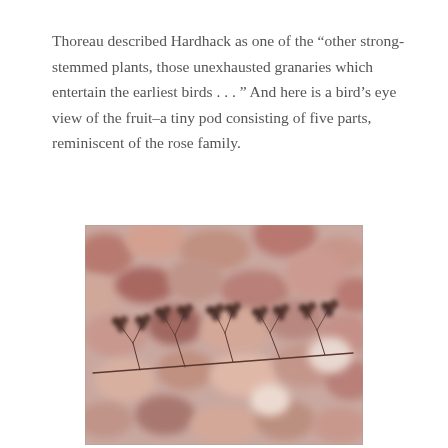Thoreau described Hardhack as one of the "other strong-stemmed plants, those unexhausted granaries which entertain the earliest birds . . . " And here is a bird's eye view of the fruit–a tiny pod consisting of five parts, reminiscent of the rose family.
[Figure (photo): Close-up photograph of dried Hardhack (Spiraea tomentosa) seed pods on thin branching stems, with a blurred background of autumn leaves in muted pink, red, and brown tones. The tiny dark brown seed pods cluster at the ends of the fine branches.]